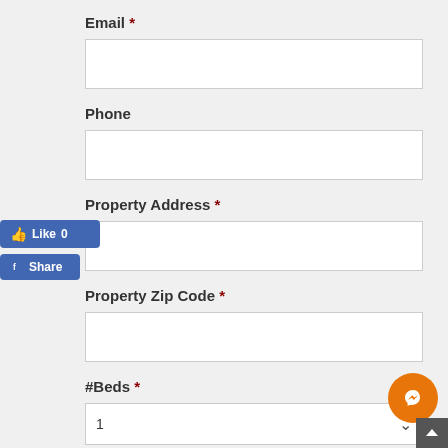Email *
[Figure (screenshot): Empty email text input field]
Phone
[Figure (screenshot): Empty phone text input field]
Property Address *
[Figure (screenshot): Facebook Like button showing Like 0]
[Figure (screenshot): Facebook Share button]
[Figure (screenshot): Empty property address text input field]
Property Zip Code *
[Figure (screenshot): Empty property zip code text input field]
#Beds *
[Figure (screenshot): Beds dropdown select showing value 1]
[Figure (screenshot): Facebook Messenger chat button (orange circle)]
[Figure (screenshot): Scroll to top arrow button (dark grey)]